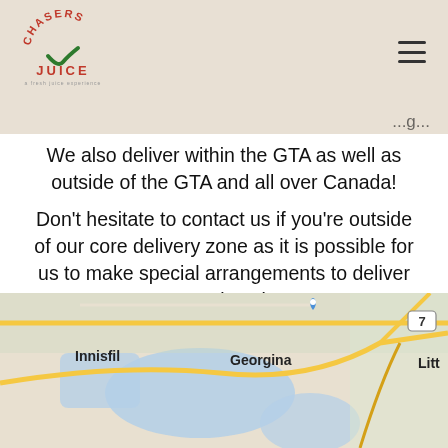Chasers Juice — navigation header with logo and hamburger menu
We also deliver within the GTA as well as outside of the GTA and all over Canada!
Don't hesitate to contact us if you're outside of our core delivery zone as it is possible for us to make special arrangements to deliver to your location.
[Figure (map): Google Maps screenshot showing Innisfil, Georgina, and partially visible Litt... (Littleton area), with roads, water bodies, and route markers visible]